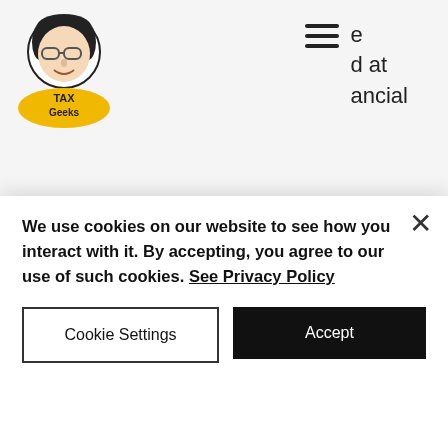[Figure (logo): Tax Geeks logo: cartoon woman with glasses above a yellow oval badge reading TAX Geeks]
[Figure (other): Hamburger menu icon (three horizontal lines) with partially visible navigation text: 'e', 'd at', 'ancial']
insights for decision making.
Real-Time Data Collaboration
Modern data and accounting technology allow for a quick and seamless communication flow between bookkeeper and client. Bookkeeping software will often operate under a joint account where
[Figure (illustration): Partial yellow and black curved graphic on the right side of the page]
We use cookies on our website to see how you interact with it. By accepting, you agree to our use of such cookies. See Privacy Policy
Cookie Settings
Accept